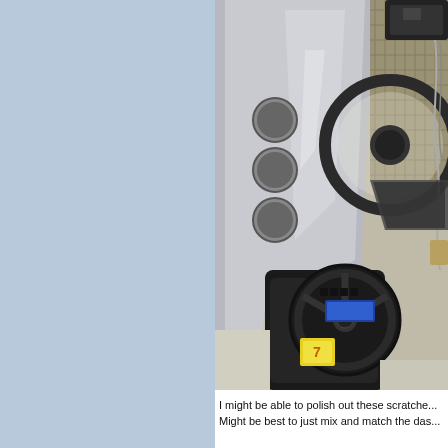[Figure (photo): Overhead/rotated photo of a go-kart or small vehicle cockpit interior showing a black steering wheel, metal dashboard, gauges, wiring, and mechanical components laid out on a metallic/aluminum surface.]
I might be able to polish out these scratche... Might be best to just mix and match the das... Duct... Tire... be... similar...